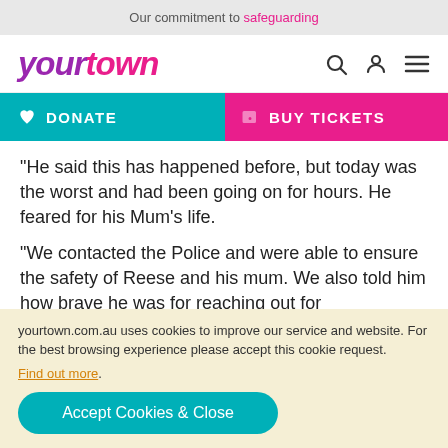Our commitment to safeguarding
[Figure (logo): yourtown logo in purple and pink italic text with search, user, and menu icons]
[Figure (infographic): DONATE button (teal with heart icon) and BUY TICKETS button (pink with ticket icon)]
“He said this has happened before, but today was the worst and had been going on for hours. He feared for his Mum’s life.
“We contacted the Police and were able to ensure the safety of Reese and his mum. We also told him how brave he was for reaching out for
yourtown.com.au uses cookies to improve our service and website. For the best browsing experience please accept this cookie request. Find out more. Accept Cookies & Close